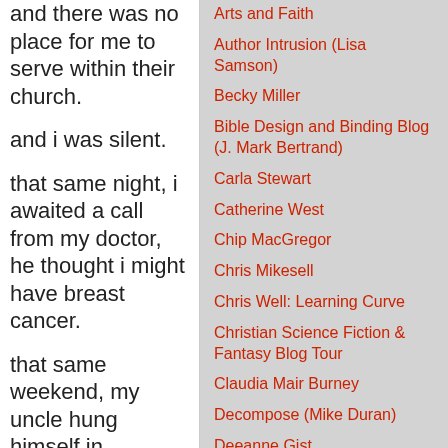and there was no place for me to serve within their church.
and i was silent.
that same night, i awaited a call from my doctor, he thought i might have breast cancer.
that same weekend, my uncle hung himself in
Arts and Faith
Author Intrusion (Lisa Samson)
Becky Miller
Bible Design and Binding Blog (J. Mark Bertrand)
Carla Stewart
Catherine West
Chip MacGregor
Chris Mikesell
Chris Well: Learning Curve
Christian Science Fiction & Fantasy Blog Tour
Claudia Mair Burney
Decompose (Mike Duran)
Deeanne Gist
Edgewise (Susan Meissner)